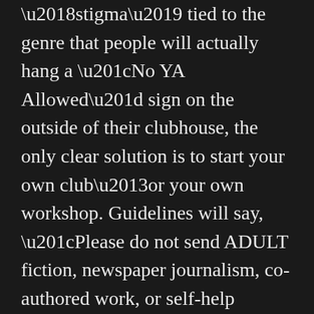'stigma' tied to the genre that people will actually hang a “No YA Allowed” sign on the outside of their clubhouse, the only clear solution is to start your own club–or your own workshop. Guidelines will say, “Please do not send ADULT fiction, newspaper journalism, co-authored work, or self-help literature.” And I’ll help you run it. 😝
Seriously though, the divisive nature of publishing can be so mind-blowing